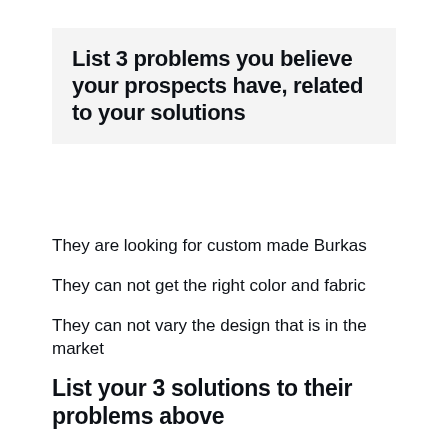List 3 problems you believe your prospects have, related to your solutions
They are looking for custom made Burkas
They can not get the right color and fabric
They can not vary the design that is in the market
List your 3 solutions to their problems above